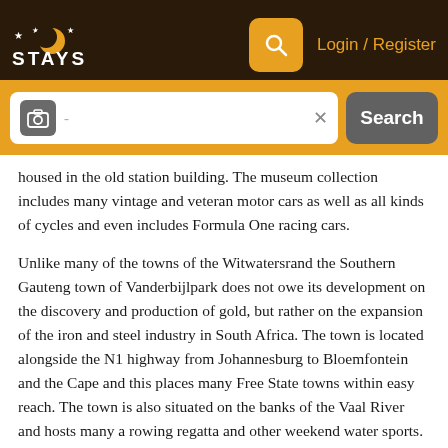STAYS — Login / Register
[Figure (screenshot): Search bar with camera icon, text input field, X button, and Search button on orange background]
housed in the old station building. The museum collection includes many vintage and veteran motor cars as well as all kinds of cycles and even includes Formula One racing cars.
Unlike many of the towns of the Witwatersrand the Southern Gauteng town of Vanderbijlpark does not owe its development on the discovery and production of gold, but rather on the expansion of the iron and steel industry in South Africa. The town is located alongside the N1 highway from Johannesburg to Bloemfontein and the Cape and this places many Free State towns within easy reach. The town is also situated on the banks of the Vaal River and hosts many a rowing regatta and other weekend water sports.
Vereeniging is another town in Southern Gauteng that does not owe its origin to the discovery of gold. It has its origins in the discovery of coal in the area in 1878. With some of the largest coal deposits in South Africa the town has become one of the country's largest